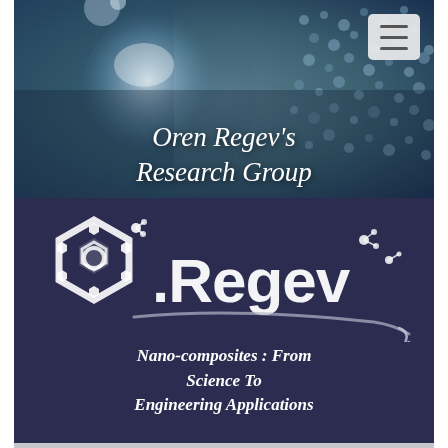[Figure (photo): Hero banner with nanoparticle/molecular imagery background (glass sphere, blue nano-material structure), dark teal/blue tones]
Oren Regev's Research Group
[Figure (logo): O.Regev logo with hexagonal molecular structure icons on dark navy background with decorative swoosh]
Nano-composites : From Science To Engineering Applications
MY RESEARCH BLOG